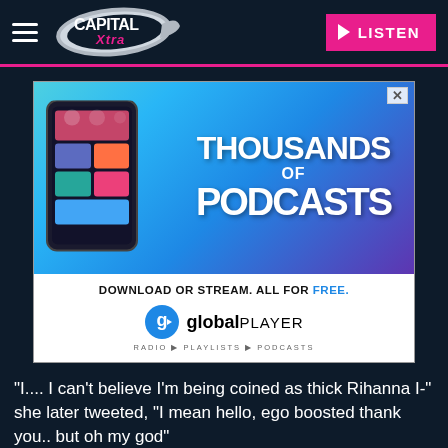[Figure (logo): Capital Xtra radio station header with hamburger menu, Capital Xtra logo, and pink LISTEN button]
[Figure (infographic): Global Player advertisement: 'THOUSANDS OF PODCASTS - DOWNLOAD OR STREAM. ALL FOR FREE.' with phone mockup and Global Player logo]
"I.... I can't believe I'm being coined as thick Rihanna I-" she later tweeted, "I mean hello, ego boosted thank you.. but oh my god"